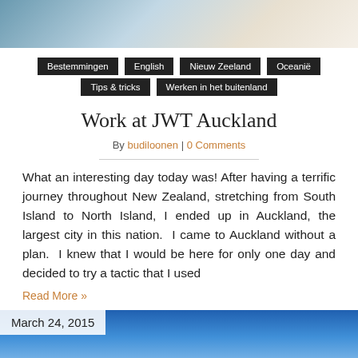[Figure (photo): Top portion of a photo showing a person outdoors]
Bestemmingen
English
Nieuw Zeeland
Oceanië
Tips & tricks
Werken in het buitenland
Work at JWT Auckland
By budiloonen | 0 Comments
What an interesting day today was! After having a terrific journey throughout New Zealand, stretching from South Island to North Island, I ended up in Auckland, the largest city in this nation.  I came to Auckland without a plan.  I knew that I would be here for only one day and decided to try a tactic that I used
Read More »
[Figure (photo): Bottom photo showing blue sky with clouds, dated March 24, 2015]